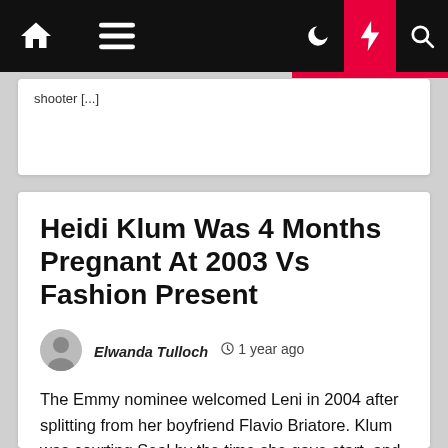Navigation bar with home, menu, moon, bolt, search icons
shooter [...]
Heidi Klum Was 4 Months Pregnant At 2003 Vs Fashion Present
Elwanda Tulloch  1 year ago
The Emmy nominee welcomed Leni in 2004 after splitting from her boyfriend Flavio Briatore. Klum was courting Seal by the time she gave start, and the "Kiss From a Rose" singer, fifty eight, adopted her eldest youngster. They went on to welcome three children of their own — Henry, 15, [...]